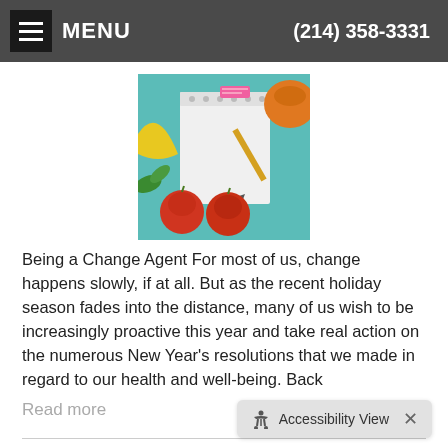MENU   (214) 358-3331
[Figure (photo): Photo of fruits (apples, banana) and a notepad with a pencil on a teal background, related to health and wellness.]
Being a Change Agent For most of us, change happens slowly, if at all. But as the recent holiday season fades into the distance, many of us wish to be increasingly proactive this year and take real action on the numerous New Year's resolutions that we made in regard to our health and well-being. Back
Read more
Flourishing
Category: Newsletter Li